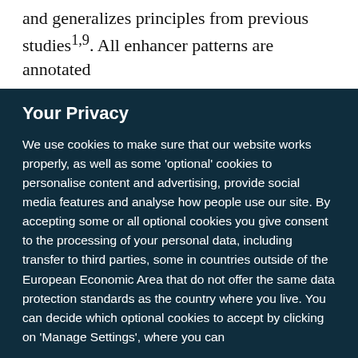the make up of enhancer sequences and confirms and generalizes principles from previous studies¹’⁹. All enhancer patterns are annotated
Your Privacy
We use cookies to make sure that our website works properly, as well as some ‘optional’ cookies to personalise content and advertising, provide social media features and analyse how people use our site. By accepting some or all optional cookies you give consent to the processing of your personal data, including transfer to third parties, some in countries outside of the European Economic Area that do not offer the same data protection standards as the country where you live. You can decide which optional cookies to accept by clicking on ‘Manage Settings’, where you can
Get the most important science stories of the day, free in your inbox.
Sign up for Nature Briefing